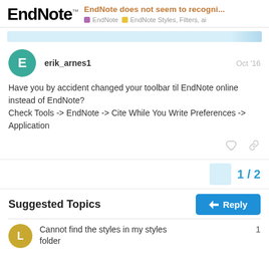EndNote™ — EndNote does not seem to recogni... — EndNote | EndNote Styles, Filters, a...
Have you by accident changed your toolbar til EndNote online instead of EndNote?
Check Tools -> EndNote -> Cite While You Write Preferences -> Application
1 / 2
Suggested Topics
Cannot find the styles in my styles folder